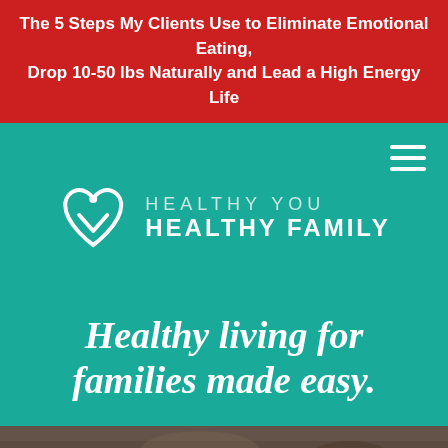The 5 Steps My Clients Use to Eliminate Emotional Eating, Drop 10-50 lbs Naturally and Lead a High Energy Life
[Figure (logo): Healthy You Healthy Family logo — white heart icon with family figures inside, next to text 'HEALTHY YOU HEALTHY FAMILY' on teal background]
Healthy living for families made easy.
[Figure (photo): Bottom strip showing a partial outdoor/nature photo]